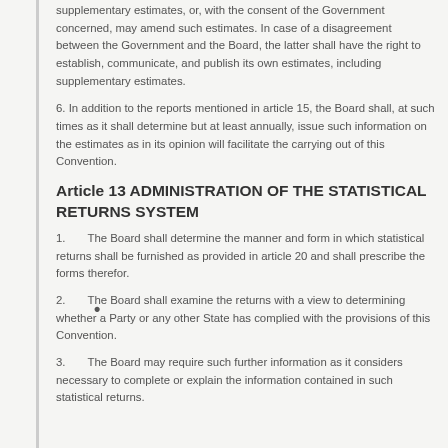supplementary estimates, or, with the consent of the Government concerned, may amend such estimates. In case of a disagreement between the Government and the Board, the latter shall have the right to establish, communicate, and publish its own estimates, including supplementary estimates.
6. In addition to the reports mentioned in article 15, the Board shall, at such times as it shall determine but at least annually, issue such information on the estimates as in its opinion will facilitate the carrying out of this Convention.
Article 13 ADMINISTRATION OF THE STATISTICAL RETURNS SYSTEM
1.      The Board shall determine the manner and form in which statistical returns shall be furnished as provided in article 20 and shall prescribe the forms therefor.
2.      The Board shall examine the returns with a view to determining whether a Party or any other State has complied with the provisions of this Convention.
3.      The Board may require such further information as it considers necessary to complete or explain the information contained in such statistical returns.